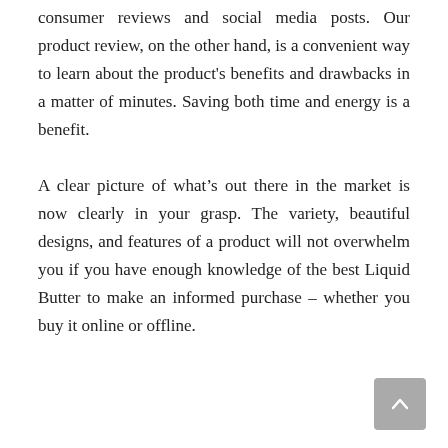consumer reviews and social media posts. Our product review, on the other hand, is a convenient way to learn about the product's benefits and drawbacks in a matter of minutes. Saving both time and energy is a benefit.
A clear picture of what’s out there in the market is now clearly in your grasp. The variety, beautiful designs, and features of a product will not overwhelm you if you have enough knowledge of the best Liquid Butter to make an informed purchase – whether you buy it online or offline.